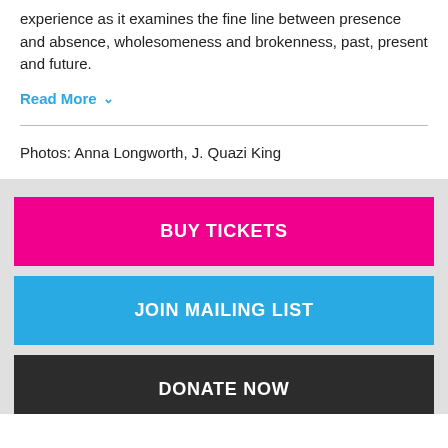experience as it examines the fine line between presence and absence, wholesomeness and brokenness, past, present and future.
Read More ∨
Photos: Anna Longworth, J. Quazi King
BUY TICKETS
JOIN MAILING LIST
DONATE NOW